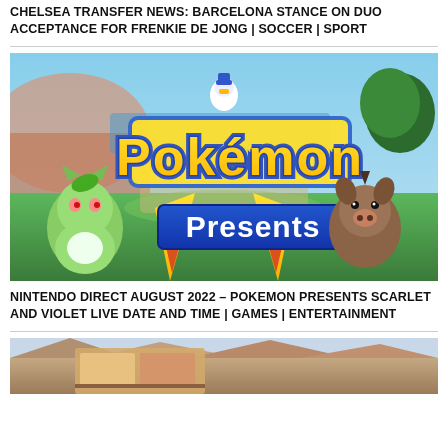CHELSEA TRANSFER NEWS: BARCELONA STANCE ON DUO ACCEPTANCE FOR FRENKIE DE JONG | SOCCER | SPORT
[Figure (screenshot): Pokemon Presents promotional image showing the Pokemon logo with 'Presents' text, featuring Sprigatito (green cat Pokemon) on the left, Pikachu's yellow ears visible in the center-bottom, and Lechonk (brown pig Pokemon) on the right, set in a grassy outdoor environment with a blue sky]
NINTENDO DIRECT AUGUST 2022 – POKEMON PRESENTS SCARLET AND VIOLET LIVE DATE AND TIME | GAMES | ENTERTAINMENT
[Figure (photo): Partial view of a landscape photo showing arid terrain with hills/mountains in the background and what appears to be food items in the foreground]